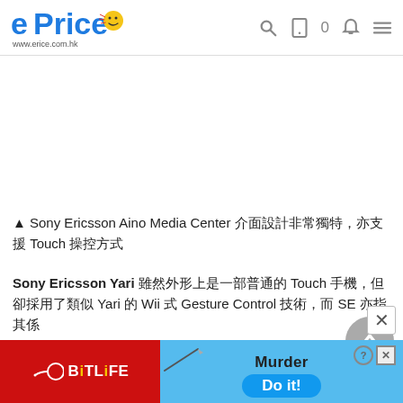ePrice www.erice.com.hk
▲ Sony Ericsson Aino Media Center 介面設計非常獨特，亦支援 Touch 操控方式
Sony Ericsson Yari 雖然外形上是一部普通的 Touch 手機，但卻採用了類似 Yari 的 Wii 式 Gesture Control 技術，而 SE 亦指其係
[Figure (screenshot): Advertisement banner for BitLife game with red and blue sections, showing Murder Do it! promotional text]